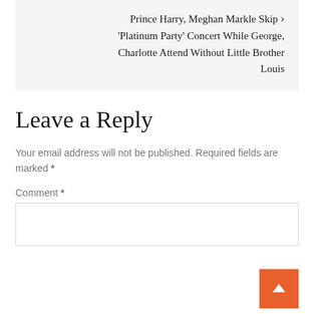Prince Harry, Meghan Markle Skip 'Platinum Party' Concert While George, Charlotte Attend Without Little Brother Louis
Leave a Reply
Your email address will not be published. Required fields are marked *
Comment *